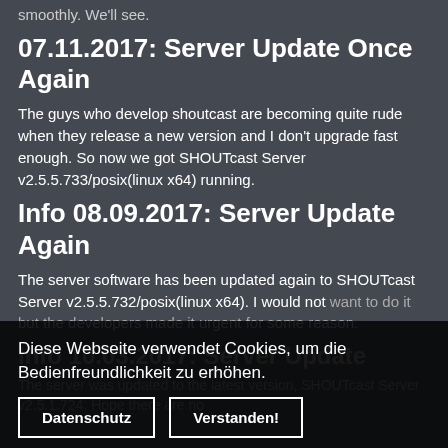smoothly. We'll see.
07.11.2017: Server Update Once Again
The guys who develop shoutcast are becoming quite rude when they release a new version and I don't upgrade fast enough. So now we got SHOUTcast Server v2.5.5.733/posix(linux x64) running.
Info 08.09.2017: Server Update Again
The server software has been updated again to SHOUTcast Server v2.5.5.732/posix(linux x64). I would not want to do it but the developers made it urgent for some reason.
Info 10.03.2017: Server Update
The server was updated to the latest version, SHOUTcast Server v2.5.1.724. Hope there are no
Diese Webseite verwendet Cookies, um die Bedienfreundlichkeit zu erhöhen.
Datenschutz
Verstanden!